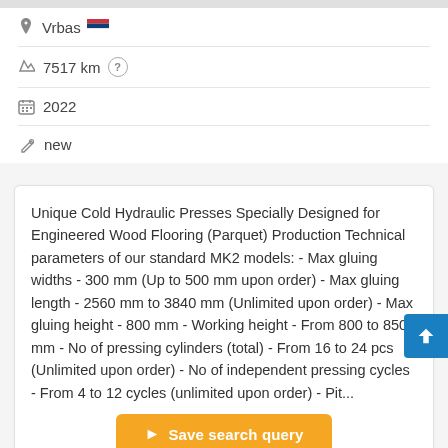Vrbas 🇷🇸
7517 km
2022
new
Unique Cold Hydraulic Presses Specially Designed for Engineered Wood Flooring (Parquet) Production Technical parameters of our standard MK2 models: - Max gluing widths - 300 mm (Up to 500 mm upon order) - Max gluing length - 2560 mm to 3840 mm (Unlimited upon order) - Max gluing height - 800 mm - Working height - From 800 to 850 mm - No of pressing cylinders (total) - From 16 to 24 pcs (Unlimited upon order) - No of independent pressing cycles - From 4 to 12 cycles (unlimited upon order) - Pit...